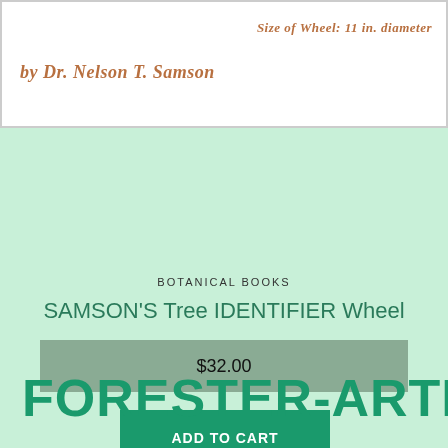Size of Wheel: 11 in. diameter
by Dr. Nelson T. Samson
BOTANICAL BOOKS
SAMSON'S Tree IDENTIFIER Wheel
$32.00
ADD TO CART
FREE SHIPPING/$100 PURCHASE
FORESTER-ARTIST